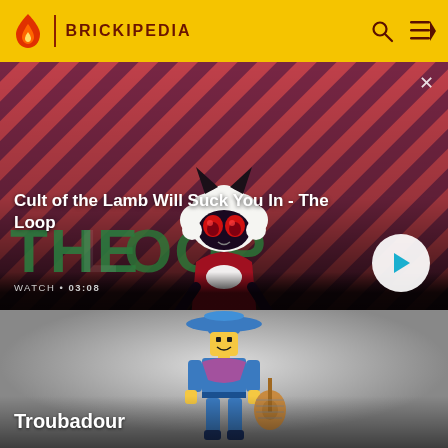BRICKIPEDIA
[Figure (screenshot): Video thumbnail with red and purple diagonal striped background featuring a cartoon lamb character with devil horns and red eyes. Shows WATCH • 03:08 label and play button. Text overlay: 'THE LOOP']
Cult of the Lamb Will Suck You In - The Loop
[Figure (photo): LEGO Troubadour minifigure holding a lute, on grey gradient background]